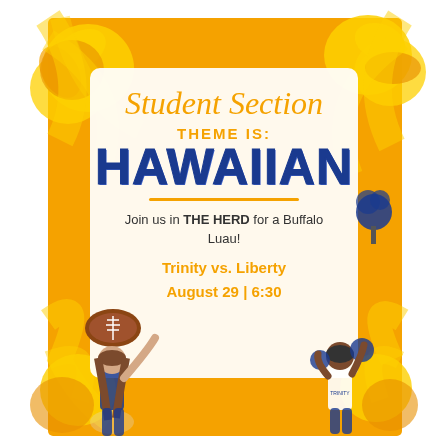[Figure (illustration): Hawaiian-themed event flyer with orange floral/tropical background, white center card, cheerleaders, football, and pom pom decorations]
Student Section
THEME IS:
HAWAIIAN
Join us in THE HERD for a Buffalo Luau!
Trinity vs. Liberty
August 29 | 6:30